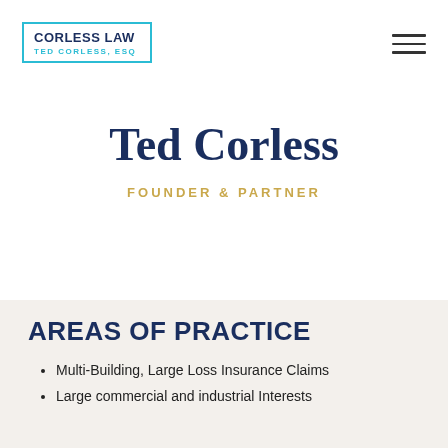[Figure (logo): Corless Law logo with blue border, name and Ted Corless, Esq subtitle]
Ted Corless
FOUNDER & PARTNER
AREAS OF PRACTICE
Multi-Building, Large Loss Insurance Claims
Large commercial and industrial Interests